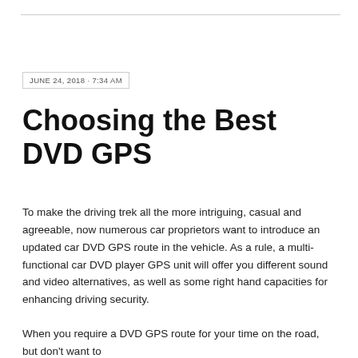JUNE 24, 2018 · 7:34 AM
Choosing the Best DVD GPS
To make the driving trek all the more intriguing, casual and agreeable, now numerous car proprietors want to introduce an updated car DVD GPS route in the vehicle. As a rule, a multi-functional car DVD player GPS unit will offer you different sound and video alternatives, as well as some right hand capacities for enhancing driving security.
When you require a DVD GPS route for your time on the road, but don't want to